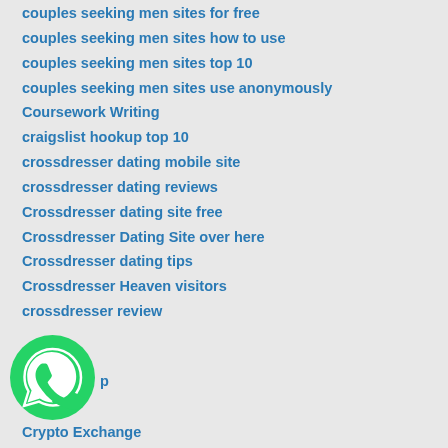couples seeking men sites for free
couples seeking men sites how to use
couples seeking men sites top 10
couples seeking men sites use anonymously
Coursework Writing
craigslist hookup top 10
crossdresser dating mobile site
crossdresser dating reviews
Crossdresser dating site free
Crossdresser Dating Site over here
Crossdresser dating tips
Crossdresser Heaven visitors
crossdresser review
[Figure (logo): WhatsApp green circular logo with phone handset icon]
Crypto Exchange